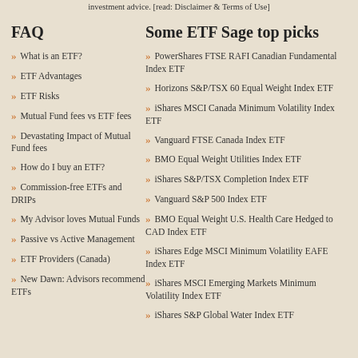investment advice. [read: Disclaimer & Terms of Use]
FAQ
What is an ETF?
ETF Advantages
ETF Risks
Mutual Fund fees vs ETF fees
Devastating Impact of Mutual Fund fees
How do I buy an ETF?
Commission-free ETFs and DRIPs
My Advisor loves Mutual Funds
Passive vs Active Management
ETF Providers (Canada)
New Dawn: Advisors recommend ETFs
Some ETF Sage top picks
PowerShares FTSE RAFI Canadian Fundamental Index ETF
Horizons S&P/TSX 60 Equal Weight Index ETF
iShares MSCI Canada Minimum Volatility Index ETF
Vanguard FTSE Canada Index ETF
BMO Equal Weight Utilities Index ETF
iShares S&P/TSX Completion Index ETF
Vanguard S&P 500 Index ETF
BMO Equal Weight U.S. Health Care Hedged to CAD Index ETF
iShares Edge MSCI Minimum Volatility EAFE Index ETF
iShares MSCI Emerging Markets Minimum Volatility Index ETF
iShares S&P Global Water Index ETF